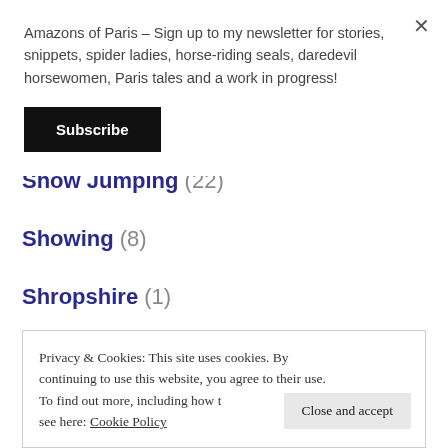Amazons of Paris – Sign up to my newsletter for stories, snippets, spider ladies, horse-riding seals, daredevil horsewomen, Paris tales and a work in progress!
Subscribe
Show Jumping (22)
Showing (8)
Shropshire (1)
Privacy & Cookies: This site uses cookies. By continuing to use this website, you agree to their use. To find out more, including how to control cookies, see here: Cookie Policy
Close and accept
Spain (11)